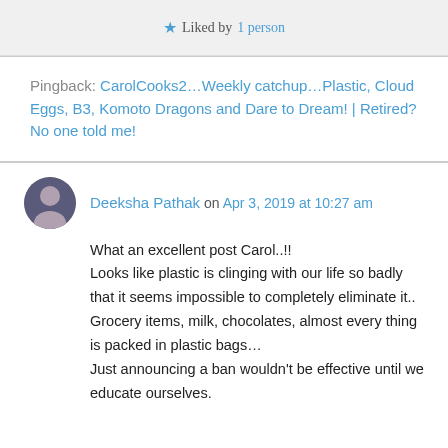★ Liked by 1 person
Pingback: CarolCooks2…Weekly catchup…Plastic, Cloud Eggs, B3, Komoto Dragons and Dare to Dream! | Retired? No one told me!
Deeksha Pathak on Apr 3, 2019 at 10:27 am
What an excellent post Carol..!! Looks like plastic is clinging with our life so badly that it seems impossible to completely eliminate it.. Grocery items, milk, chocolates, almost every thing is packed in plastic bags… Just announcing a ban wouldn't be effective until we educate ourselves.